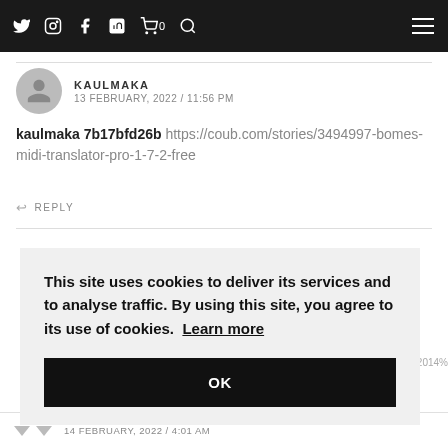Navigation bar with social media icons and hamburger menu
KAULMAKA
13 FEBRUARY, 2022 / 11:56 PM
kaulmaka 7b17bfd26b https://coub.com/stories/3494997-bomes-midi-translator-pro-1-7-2-free
REPLY
This site uses cookies to deliver its services and to analyse traffic. By using this site, you agree to its use of cookies. Learn more
OK
14 FEBRUARY, 2022 / 4:01 AM